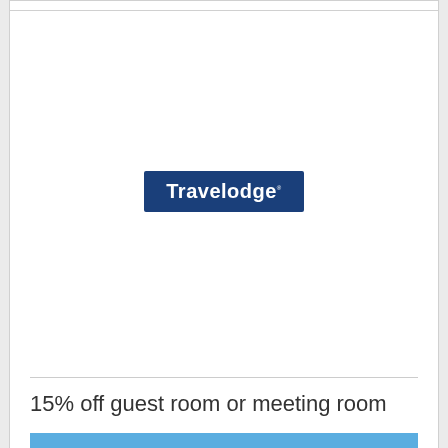[Figure (logo): Travelodge logo — white text on dark blue rectangular background]
15% off guest room or meeting room
Save when you book with Travelodge Trenton
Travelodge Trenton
Valid: 03/21/2017 - 01/31/2023